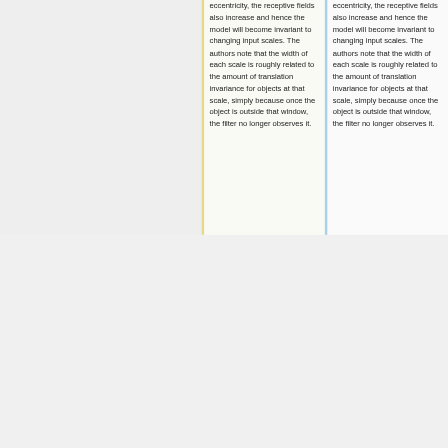eccentricity, the receptive fields also increase and hence the model will become invariant to changing input scales. The authors note that the width of each scale is roughly related to the amount of translation invariance for objects at that scale, simply because once the object is outside that window, the filter no longer observes it.
eccentricity, the receptive fields also increase and hence the model will become invariant to changing input scales. The authors note that the width of each scale is roughly related to the amount of translation invariance for objects at that scale, simply because once the object is outside that window, the filter no longer observes it.